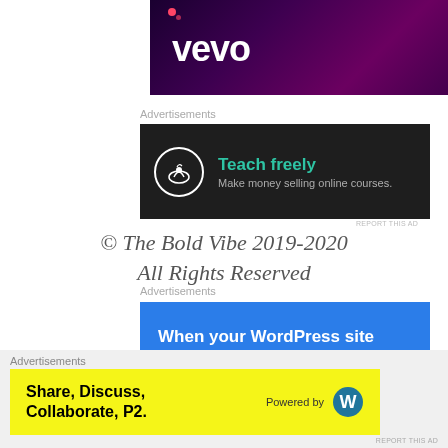[Figure (screenshot): Vevo banner with purple/magenta gradient background and white Vevo logo text]
Advertisements
[Figure (screenshot): Advertisement: dark background with bonsai tree icon, green 'Teach freely' title, gray subtitle 'Make money selling online courses.']
REPORT THIS AD
© The Bold Vibe 2019-2020
All Rights Reserved
Advertisements
[Figure (screenshot): Pressable advertisement: blue background with white bold text 'When your WordPress site needs speed, you need' and Pressable logo/brand name]
Advertisements
[Figure (screenshot): P2 advertisement: yellow background with 'Share, Discuss, Collaborate, P2.' text and 'Powered by WordPress' logo on right]
REPORT THIS AD